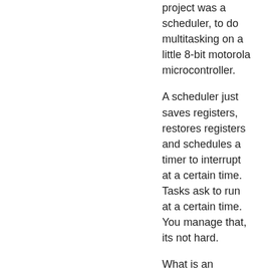project was a scheduler, to do multitasking on a little 8-bit motorola microcontroller.
A scheduler just saves registers, restores registers and schedules a timer to interrupt at a certain time. Tasks ask to run at a certain time. You manage that, its not hard.
What is an operating system, but a scheduler?
I did a compiler. Linus learned people won't call a kernel an operating system.
2013-04-16 5:06 PM
trashHeap
They do exist here are a few:
SHR – http://shr-project.org/trac
Nemo Mobile – https://wiki.merproject.org/wiki/Nemo
QTMoko – http://qtmoko.sourceforge.net/
The problem is by and large the hardware is much less standardized, much less open